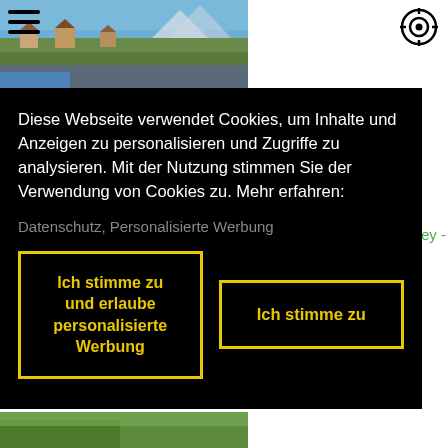[Figure (photo): Aerial or street-level photo of a village/town with houses and mountains in the background, blue sky visible. Appears to be a European alpine scene.]
Diese Webseite verwendet Cookies, um Inhalte und Anzeigen zu personalisieren und Zugriffe zu analysieren. Mit der Nutzung stimmen Sie der Verwendung von Cookies zu. Mehr erfahren:
Datenschutz, Personalisierte Werbung
Ich stimme zu und erlaube personalisierte Werbung
Ich stimme zu